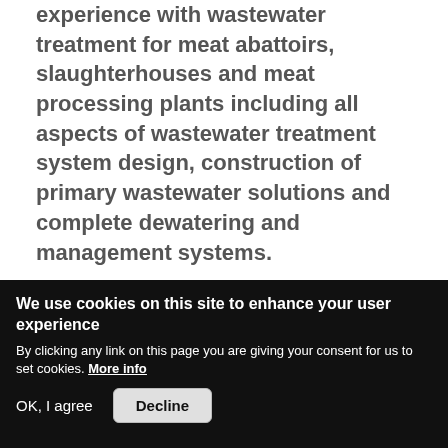experience with wastewater treatment for meat abattoirs, slaughterhouses and meat processing plants including all aspects of wastewater treatment system design, construction of primary wastewater solutions and complete dewatering and management systems.
Our solutions and products will improve efficiencies and  provide:
We use cookies on this site to enhance your user experience
By clicking any link on this page you are giving your consent for us to set cookies. More info
OK, I agree   Decline